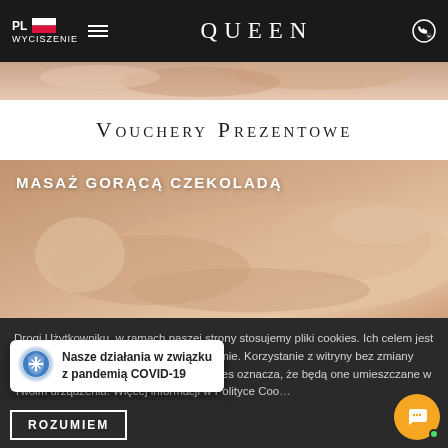PL  WYCISZENIE  QUEEN
[Figure (photo): Partial hero image showing a woman receiving a spa massage, warm skin tones]
Vouchery Prezentowe
[Figure (photo): Massage with hot chocolate spa service image with woman lying down, label: MASAŻ GORĄCĄ CZEKOLADĄ]
Drogi Użytkowniku, w ramach naszej strony stosujemy pliki cookies. Ich celem jest świadczenie usług na najwyższym poziomie. Korzystanie z witryny bez zmiany ustawień przeglądarki dotyczących cookies oznacza, że będą one umieszczane w Twoim urządzeniu. Więcej informacji w Polityce Coo...
Nasze działania w związku z pandemią COVID-19
ROZUMIEM